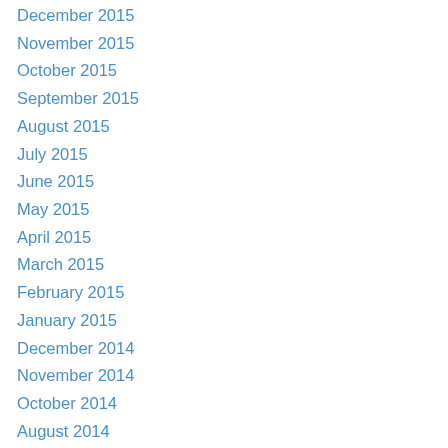December 2015
November 2015
October 2015
September 2015
August 2015
July 2015
June 2015
May 2015
April 2015
March 2015
February 2015
January 2015
December 2014
November 2014
October 2014
August 2014
July 2014
June 2014
May 2014
April 2014